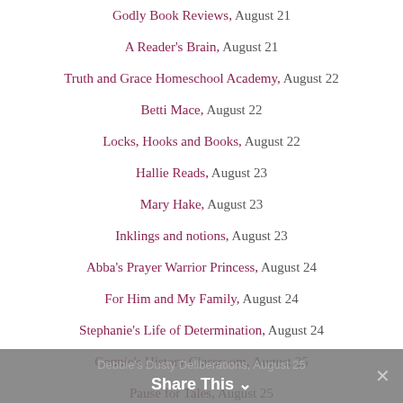Godly Book Reviews, August 21
A Reader's Brain, August 21
Truth and Grace Homeschool Academy, August 22
Betti Mace, August 22
Locks, Hooks and Books, August 22
Hallie Reads, August 23
Mary Hake, August 23
Inklings and notions, August 23
Abba's Prayer Warrior Princess, August 24
For Him and My Family, August 24
Stephanie's Life of Determination, August 24
Connie's History Classroom, August 25
Pause for Tales, August 25
Debbie's Dusty Deliberations, August 25
Share This  Debbie's Dusty Deliberations, August 25  ✕